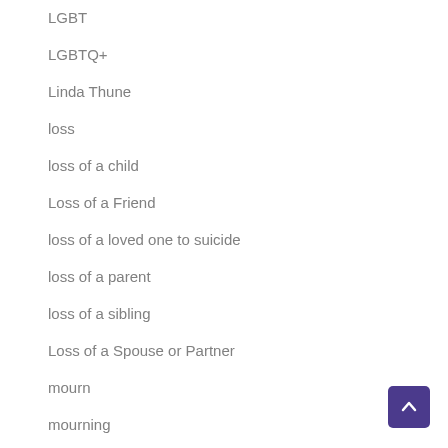LGBT
LGBTQ+
Linda Thune
loss
loss of a child
Loss of a Friend
loss of a loved one to suicide
loss of a parent
loss of a sibling
Loss of a Spouse or Partner
mourn
mourning
music
music therapy